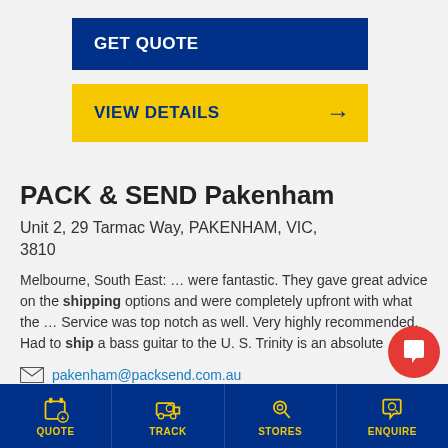[Figure (other): Blue GET QUOTE button]
[Figure (other): Yellow VIEW DETAILS button with arrow]
PACK & SEND Pakenham
Unit 2, 29 Tarmac Way, PAKENHAM, VIC, 3810
Melbourne, South East: … were fantastic. They gave great advice on the shipping options and were completely upfront with what the … Service was top notch as well. Very highly recommended. Had to ship a bass guitar to the U. S. Trinity is an absolute …
pakenham@packsend.com.au
54 reviews
QUOTE  TRACK  STORES  ENQUIRE